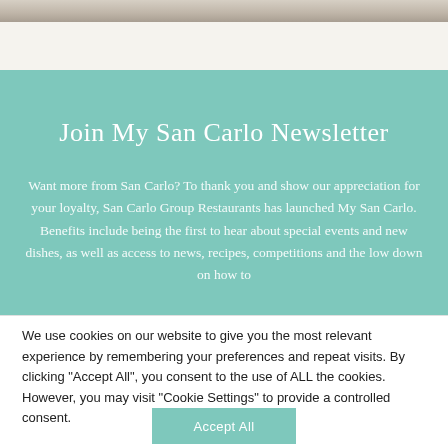[Figure (photo): Top strip showing a partial photo of a restaurant table setting with glasses and marble surface]
Join My San Carlo Newsletter
Want more from San Carlo? To thank you and show our appreciation for your loyalty, San Carlo Group Restaurants has launched My San Carlo. Benefits include being the first to hear about special events and new dishes, as well as access to news, recipes, competitions and the low down on how to
We use cookies on our website to give you the most relevant experience by remembering your preferences and repeat visits. By clicking "Accept All", you consent to the use of ALL the cookies. However, you may visit "Cookie Settings" to provide a controlled consent.
Accept All